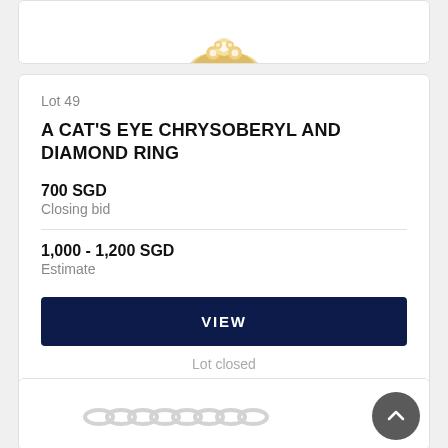[Figure (photo): Partial top of a jewelry auction card showing a cat's eye chrysoberyl and diamond ring on white background]
Lot 49
A CAT'S EYE CHRYSOBERYL AND DIAMOND RING
700 SGD
Closing bid
1,000 - 1,200 SGD
Estimate
VIEW
Lot closed
[Figure (photo): Partial bottom of next auction card showing a silver chain bracelet]